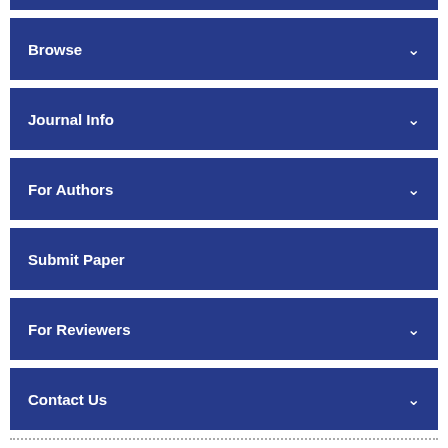Browse
Journal Info
For Authors
Submit Paper
For Reviewers
Contact Us
Evaluation of Effective Parameters on Labeling of Hydroxyapatite Compound with 90Y and Introducing the Best Method to